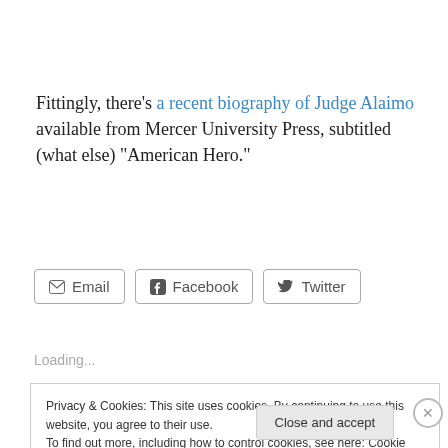Fittingly, there’s a recent biography of Judge Alaimo available from Mercer University Press, subtitled (what else) “American Hero.”
Email  Facebook  Twitter
Loading...
Privacy & Cookies: This site uses cookies. By continuing to use this website, you agree to their use. To find out more, including how to control cookies, see here: Cookie Policy
Close and accept